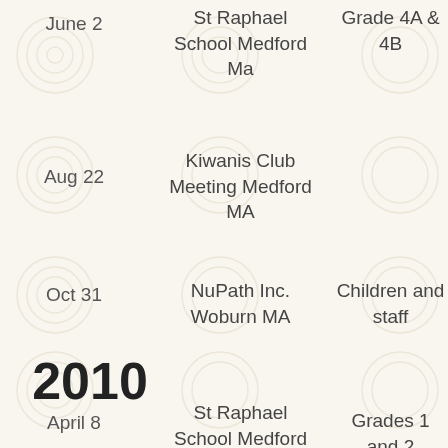| Date | Location | Audience |
| --- | --- | --- |
| June 2 | St Raphael School Medford Ma | Grade 4A & 4B |
| Aug 22 | Kiwanis Club Meeting Medford MA |  |
| Oct 31 | NuPath Inc. Woburn MA | Children and staff |
| 2010 |  |  |
| April 8 | St Raphael School Medford Ma | Grades 1 and 2 |